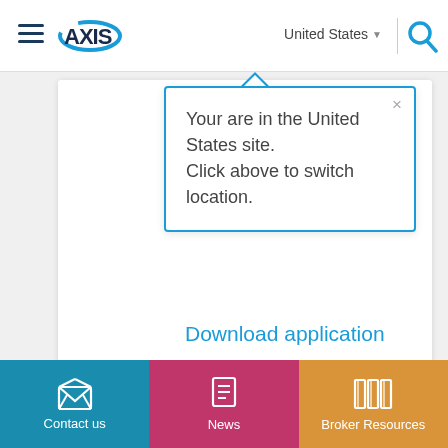[Figure (screenshot): AXIS Insurance website header with hamburger menu, AXIS logo, United States country selector, divider, and search icon]
Your are in the United States site.
Click above to switch location.
Download application
Contact us
News
Broker Resources